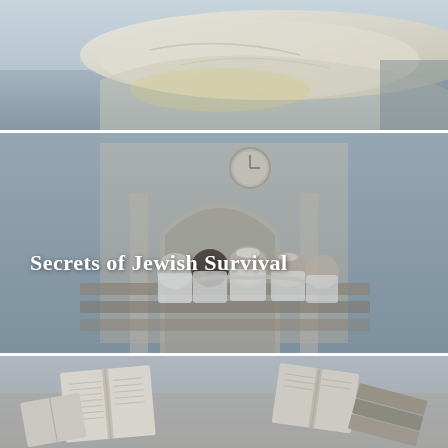[Figure (photo): Top panel: blurred photo showing what appears to be white bedding or fabric near water, with light blue-grey tones]
[Figure (photo): Middle panel: group of people in white shirts sitting together in front of an arched stone building with a clock, viewed from behind; muted grey-blue tones]
Secrets of Jewish Survival
[Figure (photo): Bottom panel: open books scattered on a surface, viewed from above, in soft grey-beige tones]